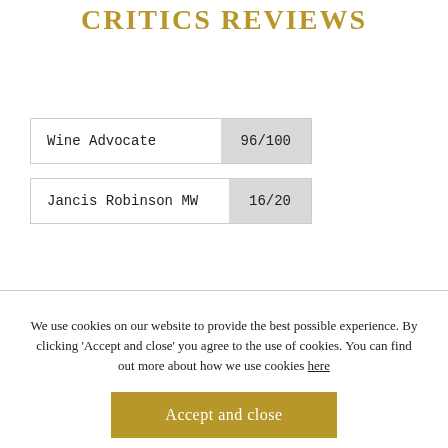CRITICS REVIEWS
| Critic | Score |
| --- | --- |
| Wine Advocate | 96/100 |
| Jancis Robinson MW | 16/20 |
We use cookies on our website to provide the best possible experience. By clicking ‘Accept and close’ you agree to the use of cookies. You can find out more about how we use cookies here
Accept and close